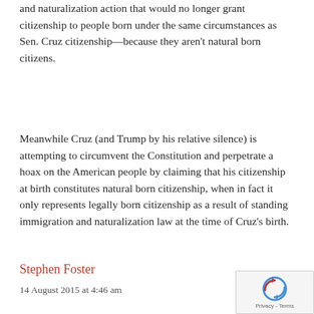and naturalization action that would no longer grant citizenship to people born under the same circumstances as Sen. Cruz citizenship—because they aren't natural born citizens.
Meanwhile Cruz (and Trump by his relative silence) is attempting to circumvent the Constitution and perpetrate a hoax on the American people by claiming that his citizenship at birth constitutes natural born citizenship, when in fact it only represents legally born citizenship as a result of standing immigration and naturalization law at the time of Cruz's birth.
Stephen Foster
14 August 2015 at 4:46 am